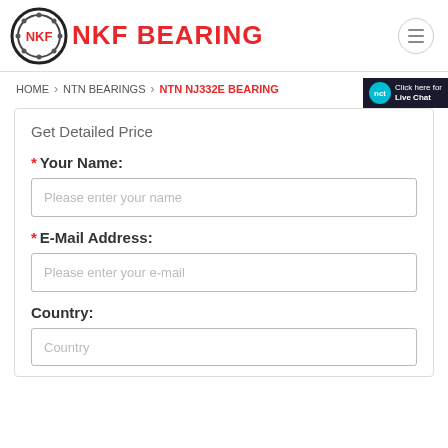NKF BEARING
HOME > NTN BEARINGS > NTN NJ332E BEARING
Get Detailed Price
* Your Name:
Please enter your name
* E-Mail Address:
Please enter your e-mail
Country:
Country